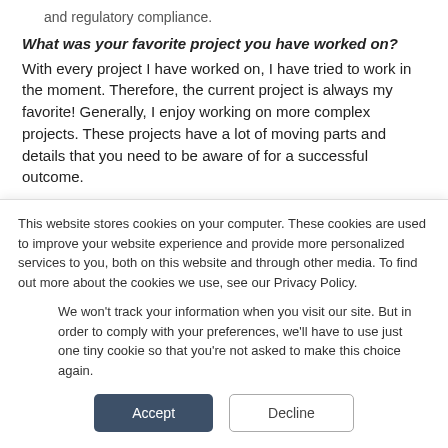and regulatory compliance.
What was your favorite project you have worked on?
With every project I have worked on, I have tried to work in the moment. Therefore, the current project is always my favorite! Generally, I enjoy working on more complex projects. These projects have a lot of moving parts and details that you need to be aware of for a successful outcome.
Most of the work that I have
This website stores cookies on your computer. These cookies are used to improve your website experience and provide more personalized services to you, both on this website and through other media. To find out more about the cookies we use, see our Privacy Policy.
We won't track your information when you visit our site. But in order to comply with your preferences, we'll have to use just one tiny cookie so that you're not asked to make this choice again.
Accept
Decline